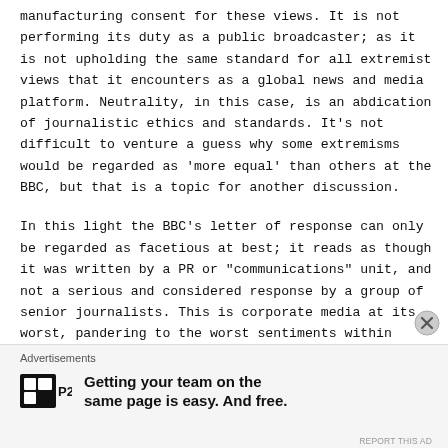manufacturing consent for these views. It is not performing its duty as a public broadcaster; as it is not upholding the same standard for all extremist views that it encounters as a global news and media platform. Neutrality, in this case, is an abdication of journalistic ethics and standards. It's not difficult to venture a guess why some extremisms would be regarded as 'more equal' than others at the BBC, but that is a topic for another discussion.
In this light the BBC's letter of response can only be regarded as facetious at best; it reads as though it was written by a PR or "communications" unit, and not a serious and considered response by a group of senior journalists. This is corporate media at its worst, pandering to the worst sentiments within society
[Figure (other): Advertisement banner with P2 logo and text: Getting your team on the same page is easy. And free.]